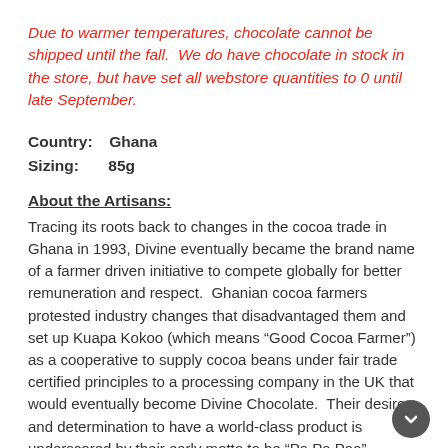Due to warmer temperatures, chocolate cannot be shipped until the fall.  We do have chocolate in stock in the store, but have set all webstore quantities to 0 until late September.
Country:   Ghana
Sizing:     85g
About the Artisans:
Tracing its roots back to changes in the cocoa trade in Ghana in 1993, Divine eventually became the brand name of a farmer driven initiative to compete globally for better remuneration and respect.  Ghanian cocoa farmers protested industry changes that disadvantaged them and set up Kuapa Kokoo (which means “Good Cocoa Farmer”) as a cooperative to supply cocoa beans under fair trade certified principles to a processing company in the UK that would eventually become Divine Chocolate.  Their desire and determination to have a world-class product is underscored by their early motto to be “Pa Pa Paa”